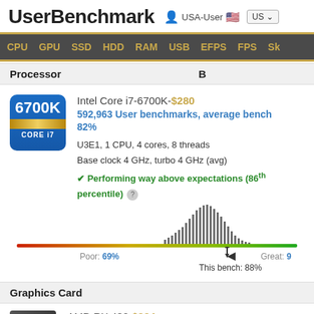UserBenchmark — USA-User US
Processor
Intel Core i7-6700K-$280
592,963 User benchmarks, average bench 82%
U3E1, 1 CPU, 4 cores, 8 threads
Base clock 4 GHz, turbo 4 GHz (avg)
✔ Performing way above expectations (86th percentile) ?
[Figure (histogram): Bell-curve histogram showing benchmark distribution. Red-to-green gradient baseline. This bench: 88%, Poor: 69%, Great shown at right.]
Graphics Card
AMD RX 480-$234
233,732 User benchmarks, average bench